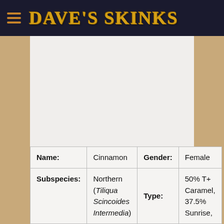DAVE'S SKINKS
| Name: | Cinnamon | Gender: | Female |
| --- | --- | --- | --- |
| Subspecies: | Northern (Tiliqua Scincoides Intermedia) | Type: | 50% T+ Caramel, 37.5% Sunrise, |